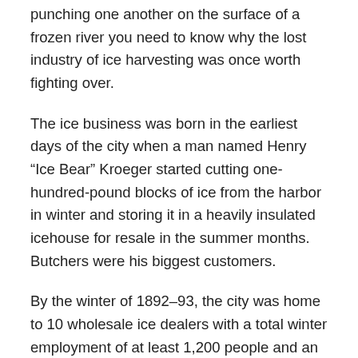punching one another on the surface of a frozen river you need to know why the lost industry of ice harvesting was once worth fighting over.
The ice business was born in the earliest days of the city when a man named Henry “Ice Bear” Kroeger started cutting one-hundred-pound blocks of ice from the harbor in winter and storing it in a heavily insulated icehouse for resale in the summer months. Butchers were his biggest customers.
By the winter of 1892–93, the city was home to 10 wholesale ice dealers with a total winter employment of at least 1,200 people and an annual harvest of 300,000 tons—and that figure didn’t include ice cutting and storage operations conducted by the city’s breweries, generally another 50,000 tons.